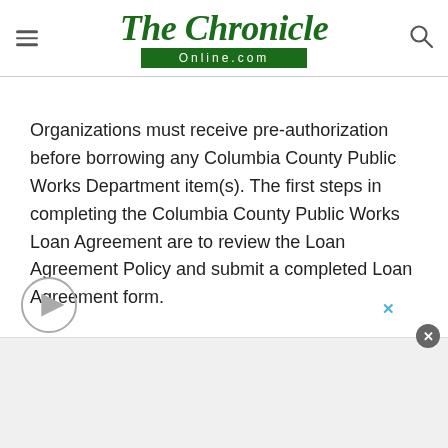The Chronicle Online.com
Organizations must receive pre-authorization before borrowing any Columbia County Public Works Department item(s). The first steps in completing the Columbia County Public Works Loan Agreement are to review the Loan Agreement Policy and submit a completed Loan Agreement form.
[Figure (other): Advertisement area with close button and video play button overlay]